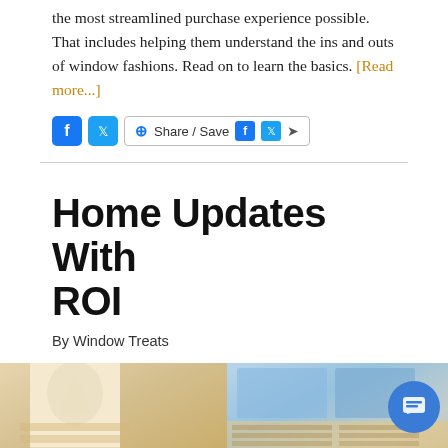the most streamlined purchase experience possible. That includes helping them understand the ins and outs of window fashions. Read on to learn the basics. [Read more...]
[Figure (screenshot): Social sharing bar with Facebook and Twitter icons and a Share/Save button]
Home Updates With ROI
By Window Treats
[Figure (photo): Two side-by-side photos of window treatments: left shows a cream/beige Roman shade close-up, right shows horizontal blinds on windows with blue sky visible]